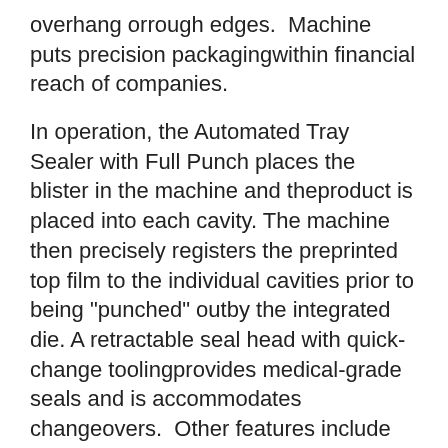overhang orrough edges.  Machine puts precision packagingwithin financial reach of companies.
In operation, the Automated Tray Sealer with Full Punch places the blister in the machine and theproduct is placed into each cavity. The machine then precisely registers the preprinted top film to the individual cavities prior to being "punched" outby the integrated die. A retractable seal head with quick-change toolingprovides medical-grade seals and is accommodates changeovers.  Other features include integrated date coder, product inserts, vision, andbar-code verification tools for error free manufacturing.
The AutomatedTray Sealer with Full Punch